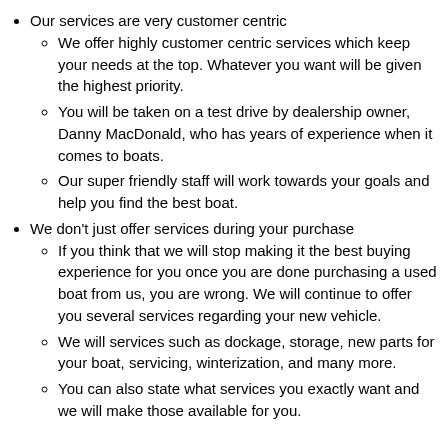Our services are very customer centric
We offer highly customer centric services which keep your needs at the top. Whatever you want will be given the highest priority.
You will be taken on a test drive by dealership owner, Danny MacDonald, who has years of experience when it comes to boats.
Our super friendly staff will work towards your goals and help you find the best boat.
We don't just offer services during your purchase
If you think that we will stop making it the best buying experience for you once you are done purchasing a used boat from us, you are wrong. We will continue to offer you several services regarding your new vehicle.
We will services such as dockage, storage, new parts for your boat, servicing, winterization, and many more.
You can also state what services you exactly want and we will make those available for you.